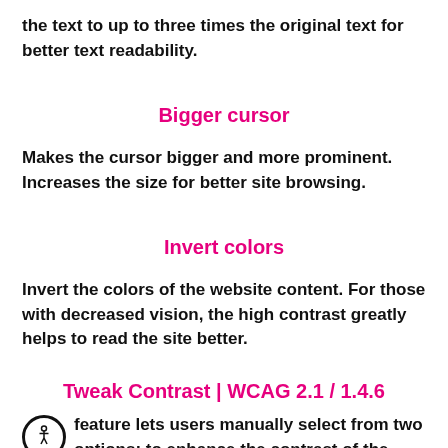the text to up to three times the original text for better text readability.
Bigger cursor
Makes the cursor bigger and more prominent. Increases the size for better site browsing.
Invert colors
Invert the colors of the website content. For those with decreased vision, the high contrast greatly helps to read the site better.
Tweak Contrast | WCAG 2.1 / 1.4.6
feature lets users manually select from two options: to enhance the contrast of the website or to